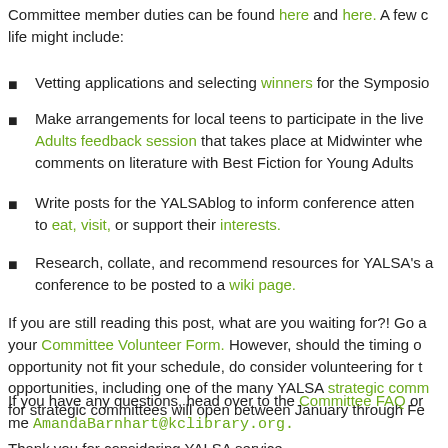Committee member duties can be found here and here. A few of what life might include:
Vetting applications and selecting winners for the Symposio
Make arrangements for local teens to participate in the live Adults feedback session that takes place at Midwinter whe comments on literature with Best Fiction for Young Adults
Write posts for the YALSAblog to inform conference atten to eat, visit, or support their interests.
Research, collate, and recommend resources for YALSA's conference to be posted to a wiki page.
If you are still reading this post, what are you waiting for?! Go a your Committee Volunteer Form. However, should the timing o opportunity not fit your schedule, do consider volunteering for opportunities, including one of the many YALSA strategic comm for strategic committees will open between January through Fe
If you have any questions, head over to the Committee FAQ or me AmandaBarnhart@kclibrary.org.
Thank you for considering YALSA service.